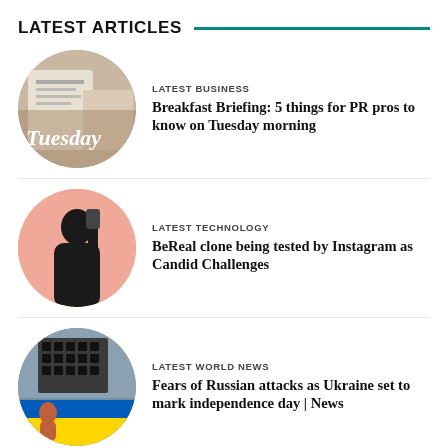LATEST ARTICLES
[Figure (photo): Circular thumbnail showing a newspaper with the word Tuesday overlaid in serif font]
LATEST BUSINESS
Breakfast Briefing: 5 things for PR pros to know on Tuesday morning
[Figure (photo): Circular thumbnail of a woman taking a selfie against a pink background]
LATEST TECHNOLOGY
BeReal clone being tested by Instagram as Candid Challenges
[Figure (photo): Circular thumbnail showing military rocket launcher with Ukrainian flag and a person]
LATEST WORLD NEWS
Fears of Russian attacks as Ukraine set to mark independence day | News